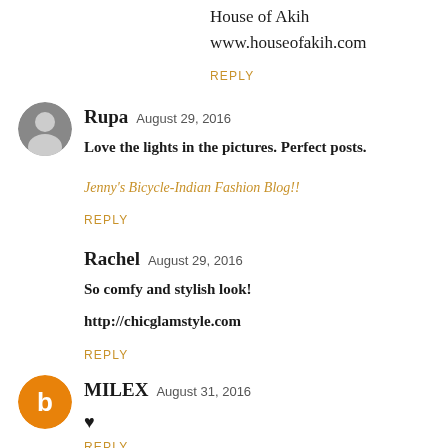House of Akih
www.houseofakih.com
REPLY
[Figure (photo): Avatar photo of Rupa, circular cropped portrait]
Rupa  August 29, 2016
Love the lights in the pictures. Perfect posts.
Jenny's Bicycle-Indian Fashion Blog!!
REPLY
Rachel  August 29, 2016
So comfy and stylish look!
http://chicglamstyle.com
REPLY
[Figure (logo): Blogger 'B' logo icon, orange circle with white B]
MILEX  August 31, 2016
♥
REPLY